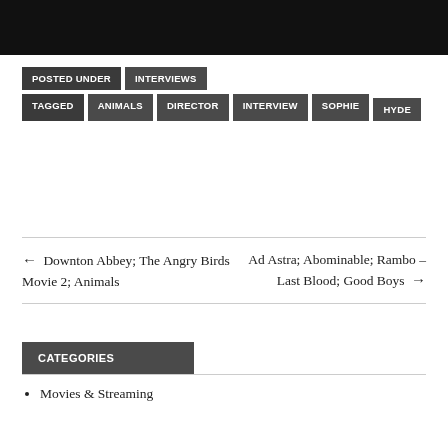[Figure (photo): Dark/black photo strip at top of page, partially cropped]
POSTED UNDER  INTERVIEWS
TAGGED  ANIMALS  DIRECTOR  INTERVIEW  SOPHIE HYDE
← Downton Abbey; The Angry Birds Movie 2; Animals    Ad Astra; Abominable; Rambo – Last Blood; Good Boys →
CATEGORIES
Movies & Streaming